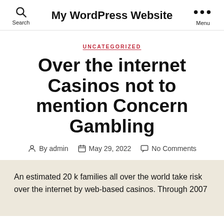Search  My WordPress Website  Menu
UNCATEGORIZED
Over the internet Casinos not to mention Concern Gambling
By admin  May 29, 2022  No Comments
An estimated 20 k families all over the world take risk over the internet by web-based casinos. Through 2007